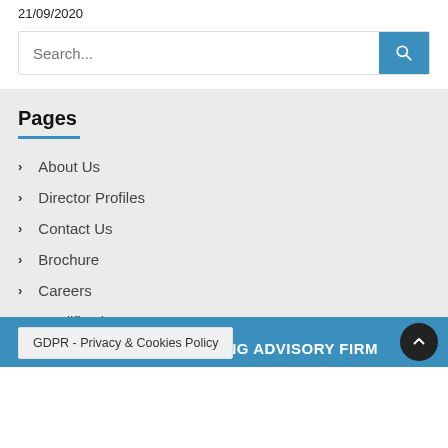21/09/2020
Search...
Pages
About Us
Director Profiles
Contact Us
Brochure
Careers
Qualifications
GDPR - Privacy & Cookies Policy
NG ADVISORY FIRM